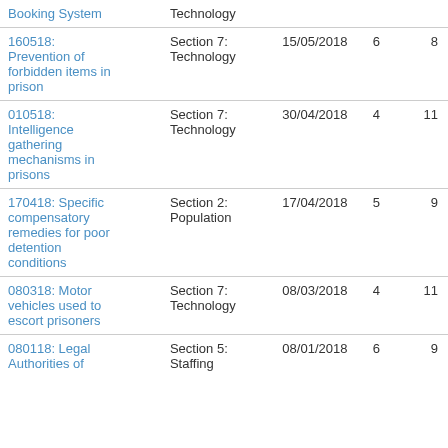|  |  |  |  |  |
| --- | --- | --- | --- | --- |
| Booking System | Technology |  |  |  |
| 160518: Prevention of forbidden items in prison | Section 7: Technology | 15/05/2018 | 6 | 8 |
| 010518: Intelligence gathering mechanisms in prisons | Section 7: Technology | 30/04/2018 | 4 | 11 |
| 170418: Specific compensatory remedies for poor detention conditions | Section 2: Population | 17/04/2018 | 5 | 9 |
| 080318: Motor vehicles used to escort prisoners | Section 7: Technology | 08/03/2018 | 4 | 11 |
| 080118: Legal Authorities of | Section 5: Staffing | 08/01/2018 | 6 | 9 |